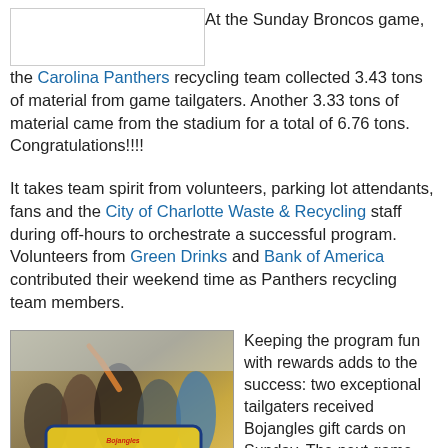[Figure (photo): Placeholder image in top-left corner, white box with border]
At the Sunday Broncos game, the Carolina Panthers recycling team collected 3.43 tons of material from game tailgaters. Another 3.33 tons of material came from the stadium for a total of 6.76 tons. Congratulations!!!!
It takes team spirit from volunteers, parking lot attendants, fans and the City of Charlotte Waste & Recycling staff during off-hours to orchestrate a successful program. Volunteers from Green Drinks and Bank of America contributed their weekend time as Panthers recycling team members.
[Figure (photo): Group of people holding a yellow Bojangles Official Carolina Panthers Tailgate Headquarters banner outdoors]
Keeping the program fun with rewards adds to the success: two exceptional tailgaters received Bojangles gift cards on Sunday. The next game will reward the two